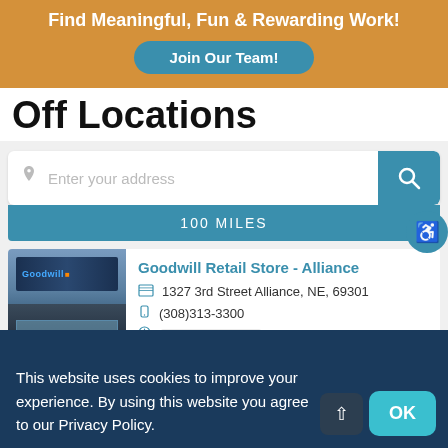Find Meaningful, Fun & Rewarding Work!
Join Our Team!
Off Locations
Enter your address
100 MILES
Goodwill Retail Store - Alliance
1327 3rd Street Alliance, NE, 69301
(308)313-3300
This website uses cookies to improve your experience. By using this website you agree to our Privacy Policy.
OK